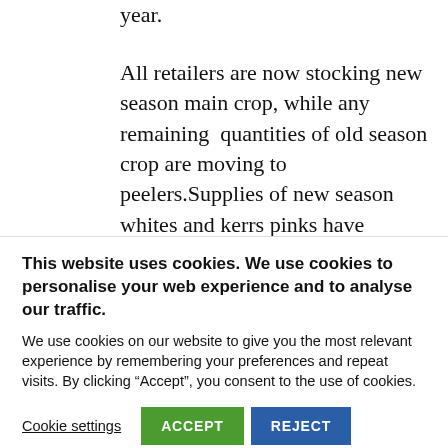year.
All retailers are now stocking new season main crop, while any remaining quantities of old season crop are moving to peelers.Supplies of new season whites and kerrs pinks have increased in the market this week.In the fresh chip sector prices are disappointing, however, on a positive note
This website uses cookies. We use cookies to personalise your web experience and to analyse our traffic. We use cookies on our website to give you the most relevant experience by remembering your preferences and repeat visits. By clicking “Accept”, you consent to the use of cookies.
Cookie settings  ACCEPT  REJECT